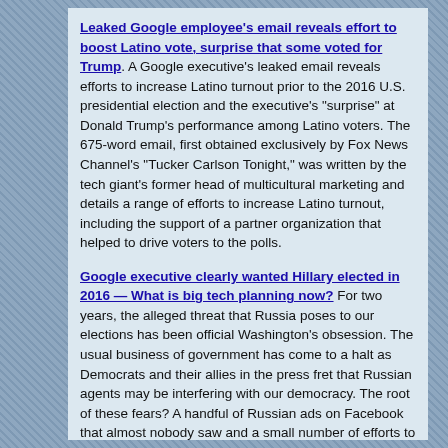Leaked Google employee's email reveals effort to boost Latino vote, surprise that some voted for Trump. A Google executive's leaked email reveals efforts to increase Latino turnout prior to the 2016 U.S. presidential election and the executive's "surprise" at Donald Trump's performance among Latino voters. The 675-word email, first obtained exclusively by Fox News Channel's "Tucker Carlson Tonight," was written by the tech giant's former head of multicultural marketing and details a range of efforts to increase Latino turnout, including the support of a partner organization that helped to drive voters to the polls.
Google executive clearly wanted Hillary elected in 2016 — What is big tech planning now? For two years, the alleged threat that Russia poses to our elections has been official Washington's obsession. The usual business of government has come to a halt as Democrats and their allies in the press fret that Russian agents may be interfering with our democracy. The root of these fears? A handful of Russian ads on Facebook that almost nobody saw and a small number of efforts to hack Democratic Party email accounts.
Tucker Carlson Reveals Google Exec's Blatant Effort To Help Hillary In 2016. We're told the companies like Google are unbiased but we don't believe them. Now we're finding out just how biased they are with recent revealing information from former Facebook employees and now with an email from a Google exec who did everything she could to elect Hillary. The blatant effort to get Hillary elected is just the beginning[. ]What could Google do this election to push leftist candidates?